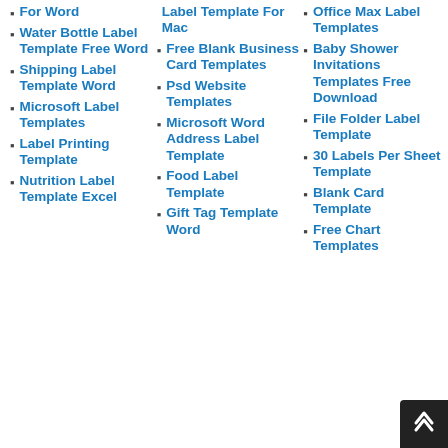For Word
Water Bottle Label Template Free Word
Shipping Label Template Word
Microsoft Label Templates
Label Printing Template
Nutrition Label Template Excel
Label Template For Mac
Free Blank Business Card Templates
Psd Website Templates
Microsoft Word Address Label Template
Food Label Template
Gift Tag Template Word
Office Max Label Templates
Baby Shower Invitations Templates Free Download
File Folder Label Template
30 Labels Per Sheet Template
Blank Card Template
Free Chart Templates